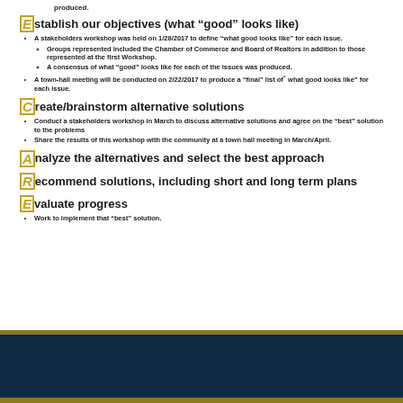produced.
Establish our objectives (what “good” looks like)
A stakeholders workshop was held on 1/28/2017 to define “what good looks like” for each issue.
Groups represented included the Chamber of Commerce and Board of Realtors in addition to those represented at the first Workshop.
A consensus of what “good” looks like for each of the issues was produced.
A town-hall meeting will be conducted on 2/22/2017 to produce a “final” list of what good looks like” for each issue.
Create/brainstorm alternative solutions
Conduct a stakeholders workshop in March to discuss alternative solutions and agree on the “best” solution to the problems
Share the results of this workshop with the community at a town hall meeting in March/April.
Analyze the alternatives and select the best approach
Recommend solutions, including short and long term plans
Evaluate progress
Work to implement that “best” solution.